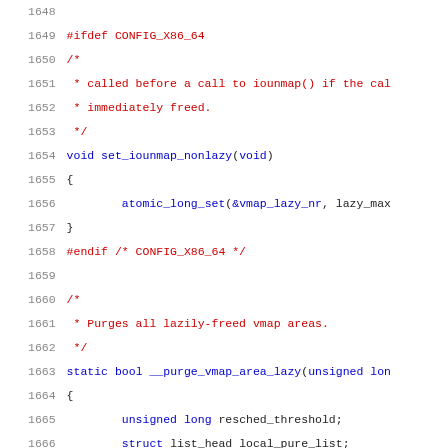[Figure (screenshot): Source code listing (C language) with line numbers 1648-1669, showing #ifdef CONFIG_X86_64 block with set_iounmap_nonlazy function and beginning of __purge_vmap_area_lazy function]